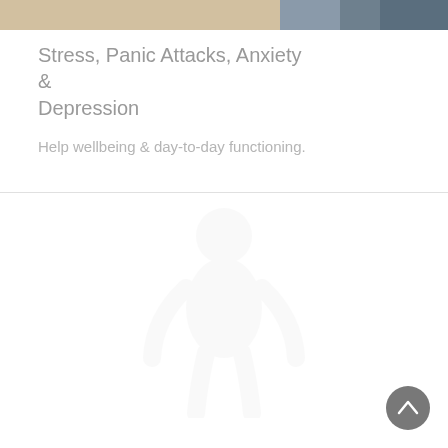[Figure (photo): Partial top banner image showing a person, warm beige/tan background with dark clothing visible at top right corner]
Stress, Panic Attacks, Anxiety & Depression
Help wellbeing & day-to-day functioning.
[Figure (illustration): Faint watermark-style person/human silhouette icon centered in the lower white section of the page]
[Figure (other): Dark grey circular scroll-to-top button with upward chevron arrow, positioned bottom right]